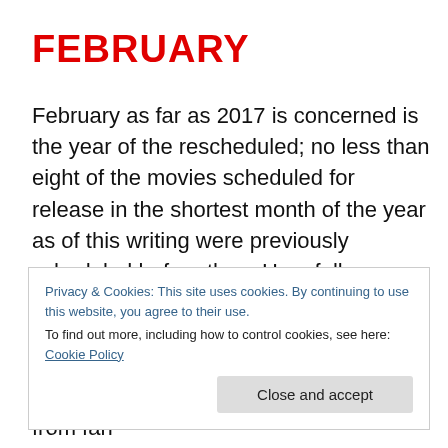FEBRUARY
February as far as 2017 is concerned is the year of the rescheduled; no less than eight of the movies scheduled for release in the shortest month of the year as of this writing were previously scheduled before then. Hopefully some of them will prove worth the wait, as we'll be seeing a version of a young adult novel about a boy born on Mars falling in love with an Earth-born girl, the latest from fan
Privacy & Cookies: This site uses cookies. By continuing to use this website, you agree to their use.
To find out more, including how to control cookies, see here: Cookie Policy
Close and accept